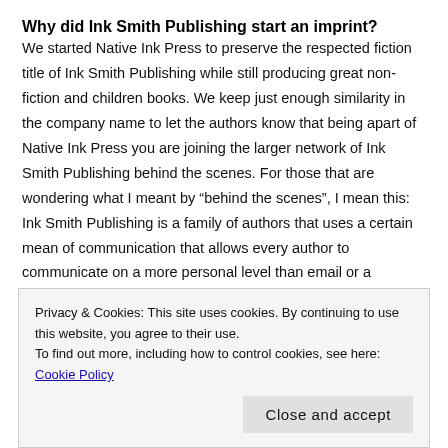Why did Ink Smith Publishing start an imprint?
We started Native Ink Press to preserve the respected fiction title of Ink Smith Publishing while still producing great non-fiction and children books. We keep just enough similarity in the company name to let the authors know that being apart of Native Ink Press you are joining the larger network of Ink Smith Publishing behind the scenes. For those that are wondering what I meant by “behind the scenes”, I mean this: Ink Smith Publishing is a family of authors that uses a certain mean of communication that allows every author to communicate on a more personal level than email or a discussion forum. I have watched my authors help each other, encourage each other and inform each other of the latest contest that I may have missed. This develops a sense of camaraderie that makes Ink Smith
Privacy & Cookies: This site uses cookies. By continuing to use this website, you agree to their use.
To find out more, including how to control cookies, see here: Cookie Policy
Close and accept